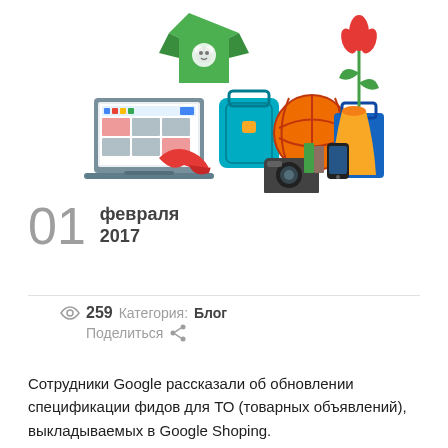[Figure (illustration): Colorful illustration of various shopping items: green t-shirt with bear logo, laptop showing Google interface, red high heels, teal handbag, basketball, flower in vase, camera, smartphone, books, and blue bag.]
01 февраля 2017
259  Категория: Блог
Поделиться
Сотрудники Google рассказали об обновлении спецификации фидов для ТО (товарных объявлений), выкладываемых в Google Shoping.